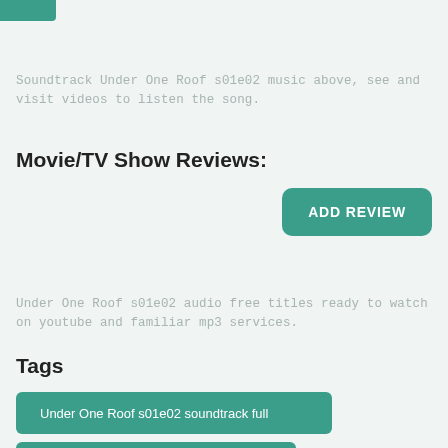[Figure (logo): Green teal logo box in top left corner]
Soundtrack Under One Roof s01e02 music above, see and visit videos to listen the song.
Movie/TV Show Reviews:
[Figure (other): ADD REVIEW teal button]
Under One Roof s01e02 audio free titles ready to watch on youtube and familiar mp3 services.
Tags
Under One Roof s01e02 soundtrack full
Under One Roof s01e02 tracklist online
Under One Roof s01e02 songs complete list